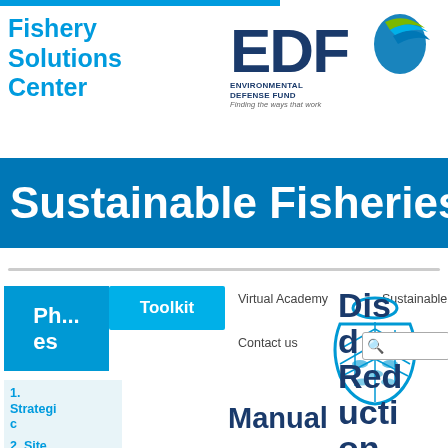[Figure (logo): Fishery Solutions Center logo with blue text on white background with blue horizontal line above]
[Figure (logo): EDF Environmental Defense Fund logo with globe/leaf graphic, subtitle 'ENVIRONMENTAL DEFENSE FUND' and tagline 'Finding the ways that work']
Sustainable Fisheries To...
[Figure (illustration): Blue illustrated fish bag icon with fish pattern and lattice design]
Toolkit
Virtual Academy
Sustainable fisheries
Contact us
Ph... es
Dis d Red ucti on
1. Strategic scoping
Manual
2. Site